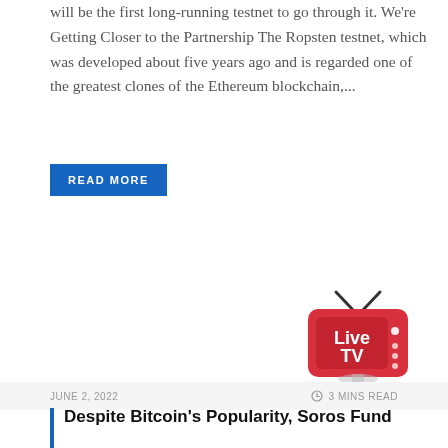will be the first long-running testnet to go through it. We're Getting Closer to the Partnership The Ropsten testnet, which was developed about five years ago and is regarded one of the greatest clones of the Ethereum blockchain,...
READ MORE
[Figure (logo): Live TV logo - red rounded rectangle with antenna on top, text 'Live TV' in white, with control buttons on the right side]
JUNE 2, 2022    3 MINS READ
Despite Bitcoin's Popularity, Soros Fund